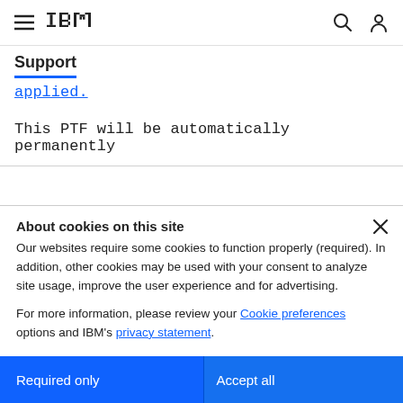IBM Support
applied.
This PTF will be automatically permanently
About cookies on this site
Our websites require some cookies to function properly (required). In addition, other cookies may be used with your consent to analyze site usage, improve the user experience and for advertising.
For more information, please review your Cookie preferences options and IBM’s privacy statement.
Required only
Accept all